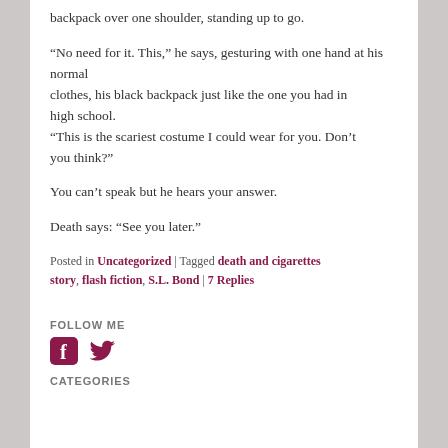backpack over one shoulder, standing up to go.
“No need for it. This,” he says, gesturing with one hand at his normal clothes, his black backpack just like the one you had in high school.
“This is the scariest costume I could wear for you. Don’t you think?”
You can’t speak but he hears your answer.
Death says: “See you later.”
Posted in Uncategorized | Tagged death and cigarettes story, flash fiction, S.L. Bond | 7 Replies
FOLLOW ME
[Figure (illustration): Social media icons: Facebook (f logo) and Twitter (bird logo) in dark red/maroon color]
CATEGORIES